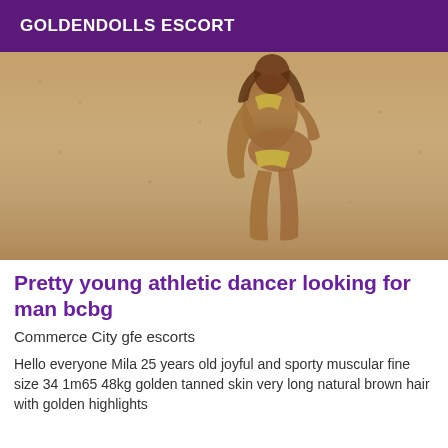GOLDENDOLLS ESCORT
[Figure (photo): A woman in a gold bikini on a sandy beach, bending forward, with tanned skin and long hair.]
Pretty young athletic dancer looking for man bcbg
Commerce City gfe escorts
Hello everyone Mila 25 years old joyful and sporty muscular fine size 34 1m65 48kg golden tanned skin very long natural brown hair with golden highlights